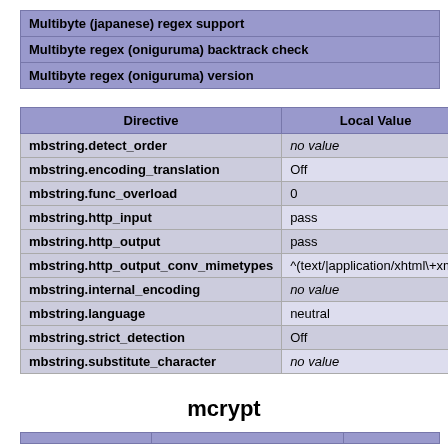| Multibyte (japanese) regex support |
| Multibyte regex (oniguruma) backtrack check |
| Multibyte regex (oniguruma) version |
| Directive | Local Value |  |
| --- | --- | --- |
| mbstring.detect_order | no value | no |
| mbstring.encoding_translation | Off | Of |
| mbstring.func_overload | 0 | 0 |
| mbstring.http_input | pass | pa |
| mbstring.http_output | pass | pa |
| mbstring.http_output_conv_mimetypes | ^(text/|application/xhtml\+xml) | ^(t |
| mbstring.internal_encoding | no value | no |
| mbstring.language | neutral | ne |
| mbstring.strict_detection | Off | Of |
| mbstring.substitute_character | no value | no |
mcrypt
|  |  |  |
| --- | --- | --- |